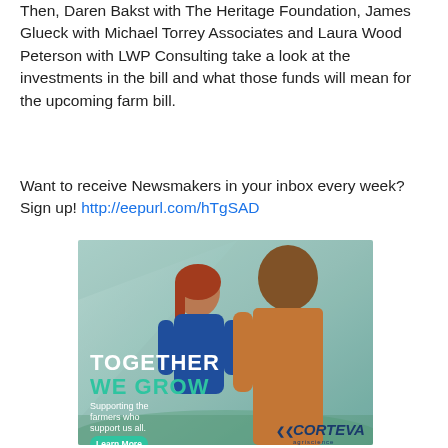Then, Daren Bakst with The Heritage Foundation, James Glueck with Michael Torrey Associates and Laura Wood Peterson with LWP Consulting take a look at the investments in the bill and what those funds will mean for the upcoming farm bill.
Want to receive Newsmakers in your inbox every week? Sign up! http://eepurl.com/hTgSAD
[Figure (illustration): Corteva Agriscience advertisement showing two people in a field. Text reads: TOGETHER WE GROW - Supporting the farmers who support us all. Learn More button. Corteva agriscience logo.]